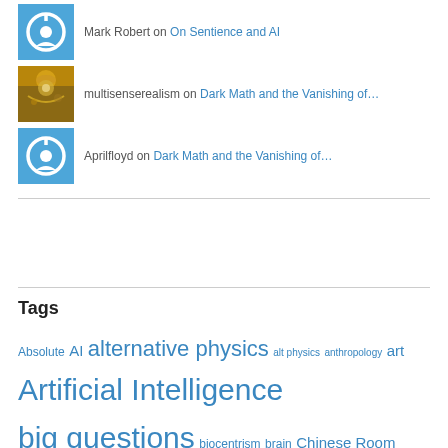Mark Robert on On Sentience and AI
multisenserealism on Dark Math and the Vanishing of…
Aprilfloyd on Dark Math and the Vanishing of…
Tags
Absolute AI alternative physics alt physics anthropology art Artificial Intelligence big questions biocentrism brain Chinese Room computationalism computers consciousness